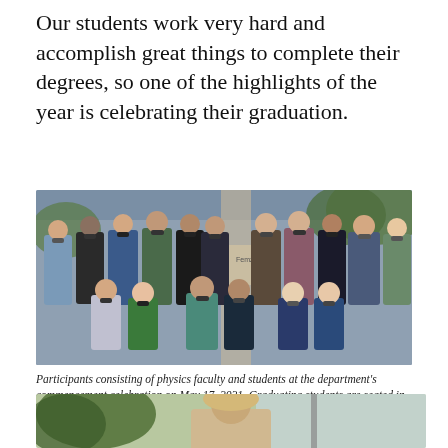Our students work very hard and accomplish great things to complete their degrees, so one of the highlights of the year is celebrating their graduation.
[Figure (photo): Group photo of physics faculty and students wearing masks at department commencement celebration, outdoors. Two rows visible — standing row in back and seated row in front.]
Participants consisting of physics faculty and students at the department's commencement celebration on May 17, 2021. Graduating students are seated in the front row, from left to right: Jiawei Wang, Xi Chen (MS), Muhammad Kilinc, Bilal Barut, Hannah Seppala (BS,) and Lauren Kim (BS).
[Figure (photo): Portrait photo of a person outdoors, partially visible — cropped at bottom of page.]